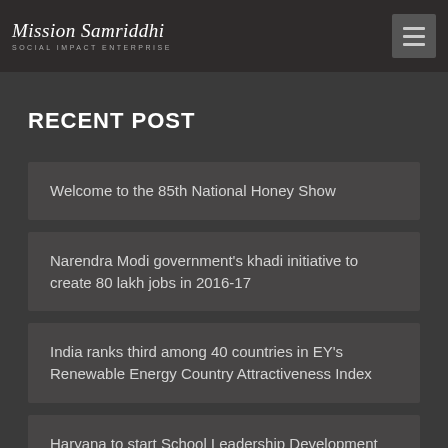Mission Samriddhi — Social Impact Enterprise
RECENT POST
Welcome to the 85th National Honey Show
Narendra Modi government's khadi initiative to create 80 lakh jobs in 2016-17
India ranks third among 40 countries in EY's Renewable Energy Country Attractiveness Index
Haryana to start School Leadership Development Programme